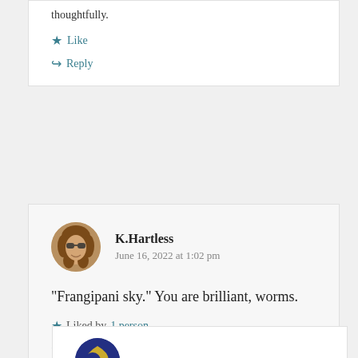thoughtfully.
Like
Reply
K.Hartless
June 16, 2022 at 1:02 pm
“Frangipani sky.” You are brilliant, worms.
Liked by 1 person
Reply